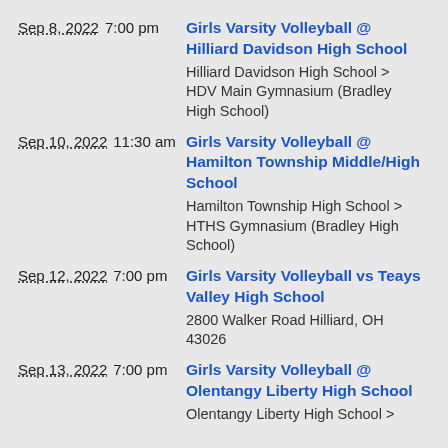Sep 8, 2022 7:00 pm Girls Varsity Volleyball @ Hilliard Davidson High School — Hilliard Davidson High School > HDV Main Gymnasium (Bradley High School)
Sep 10, 2022 11:30 am Girls Varsity Volleyball @ Hamilton Township Middle/High School — Hamilton Township High School > HTHS Gymnasium (Bradley High School)
Sep 12, 2022 7:00 pm Girls Varsity Volleyball vs Teays Valley High School — 2800 Walker Road Hilliard, OH 43026
Sep 13, 2022 7:00 pm Girls Varsity Volleyball @ Olentangy Liberty High School — Olentangy Liberty High School >